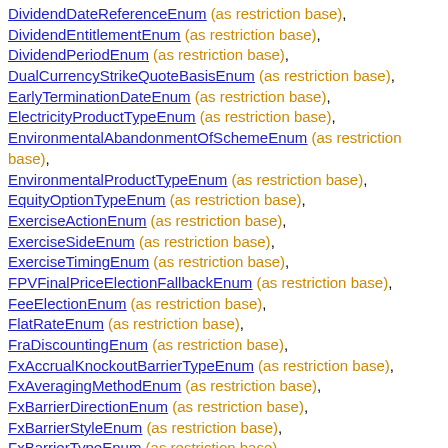DividendDateReferenceEnum (as restriction base),
DividendEntitlementEnum (as restriction base),
DividendPeriodEnum (as restriction base),
DualCurrencyStrikeQuoteBasisEnum (as restriction base),
EarlyTerminationDateEnum (as restriction base),
ElectricityProductTypeEnum (as restriction base),
EnvironmentalAbandonmentOfSchemeEnum (as restriction base),
EnvironmentalProductTypeEnum (as restriction base),
EquityOptionTypeEnum (as restriction base),
ExerciseActionEnum (as restriction base),
ExerciseSideEnum (as restriction base),
ExerciseTimingEnum (as restriction base),
FPVFinalPriceElectionFallbackEnum (as restriction base),
FeeElectionEnum (as restriction base),
FlatRateEnum (as restriction base),
FraDiscountingEnum (as restriction base),
FxAccrualKnockoutBarrierTypeEnum (as restriction base),
FxAveragingMethodEnum (as restriction base),
FxBarrierDirectionEnum (as restriction base),
FxBarrierStyleEnum (as restriction base),
FxBarrierTypeEnum (as restriction base),
FxOffsetConventionEnum (as restriction base),
FxRegionLowerBoundDirectionEnum (as restriction base),
FxRegionUpperBoundDirectionEnum (as restriction base),